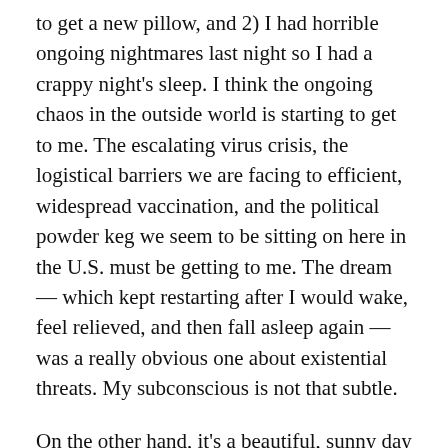to get a new pillow, and 2) I had horrible ongoing nightmares last night so I had a crappy night's sleep. I think the ongoing chaos in the outside world is starting to get to me. The escalating virus crisis, the logistical barriers we are facing to efficient, widespread vaccination, and the political powder keg we seem to be sitting on here in the U.S. must be getting to me. The dream — which kept restarting after I would wake, feel relieved, and then fall asleep again — was a really obvious one about existential threats. My subconscious is not that subtle.
On the other hand, it's a beautiful, sunny day outside, and I'm lazing around in my bed still with all the windows open and birds chirping up a storm. So far, I have no plans to get up any time soon. I'm getting a rare moment to myself as my family is downstairs